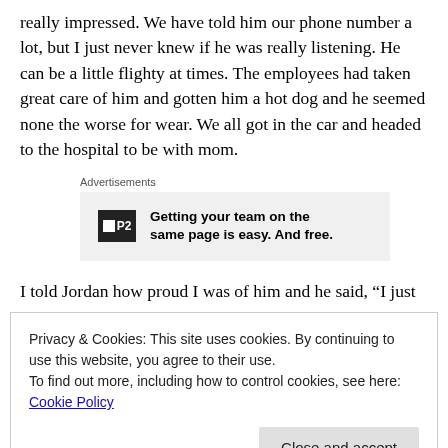really impressed. We have told him our phone number a lot, but I just never knew if he was really listening. He can be a little flighty at times. The employees had taken great care of him and gotten him a hot dog and he seemed none the worse for wear. We all got in the car and headed to the hospital to be with mom.
[Figure (other): Advertisement banner for P2 product: 'Getting your team on the same page is easy. And free.']
I told Jordan how proud I was of him and he said, “I just
Privacy & Cookies: This site uses cookies. By continuing to use this website, you agree to their use.
To find out more, including how to control cookies, see here: Cookie Policy
Close and accept
them stuff. 😐